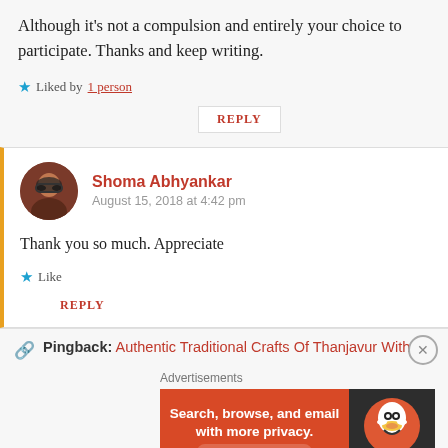Although it's not a compulsion and entirely your choice to participate. Thanks and keep writing.
★ Liked by 1 person
REPLY
Shoma Abhyankar
August 15, 2018 at 4:42 pm
Thank you so much. Appreciate
★ Like
REPLY
Pingback: Authentic Traditional Crafts Of Thanjavur With
Advertisements
[Figure (infographic): DuckDuckGo advertisement banner: orange background with text 'Search, browse, and email with more privacy. All in One Free App' and DuckDuckGo duck logo on dark background]